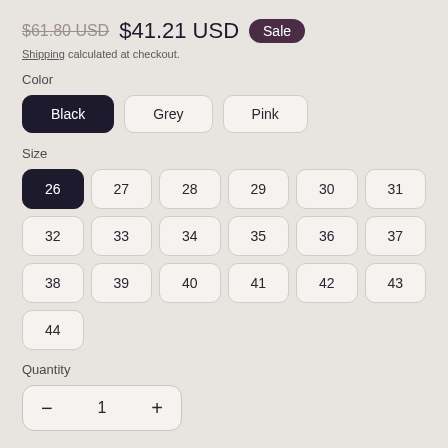$61.80 USD  $41.21 USD  Sale
Shipping calculated at checkout.
Color
Black (selected), Grey, Pink
Size
26 (selected), 27, 28, 29, 30, 31, 32, 33, 34, 35, 36, 37, 38, 39, 40, 41, 42, 43, 44
Quantity
1